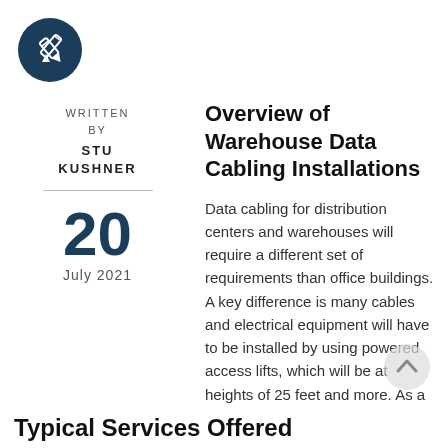[Figure (logo): Dark teal circular icon with a white pencil/edit symbol]
WRITTEN BY STU KUSHNER
20 July 2021
Overview of Warehouse Data Cabling Installations
Data cabling for distribution centers and warehouses will require a different set of requirements than office buildings. A key difference is many cables and electrical equipment will have to be installed by using powered access lifts, which will be at heights of 25 feet and more. As a result, detailed planning will be needed for cable runs throughout the structure.
Typical Services Offered